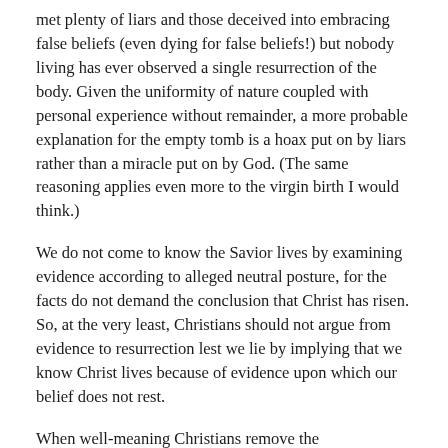met plenty of liars and those deceived into embracing false beliefs (even dying for false beliefs!) but nobody living has ever observed a single resurrection of the body. Given the uniformity of nature coupled with personal experience without remainder, a more probable explanation for the empty tomb is a hoax put on by liars rather than a miracle put on by God. (The same reasoning applies even more to the virgin birth I would think.)
We do not come to know the Savior lives by examining evidence according to alleged neutral posture, for the facts do not demand the conclusion that Christ has risen. So, at the very least, Christians should not argue from evidence to resurrection lest we lie by implying that we know Christ lives because of evidence upon which our belief does not rest.
When well-meaning Christians remove the extraordinary claim of the resurrection from its soteriological context, the resurrection is anything but credible. Yet, the resurrection is perfectly sensible within the context of things we know by